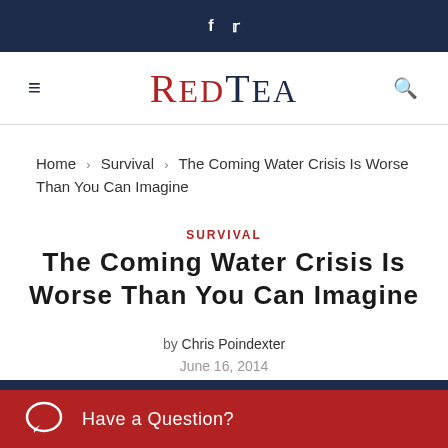f  t  — RedTea navigation header with social icons and logo
Home > Survival > The Coming Water Crisis Is Worse Than You Can Imagine
SURVIVAL
The Coming Water Crisis Is Worse Than You Can Imagine
by Chris Poindexter
June 16, 2014
0 comment
Have a Question?